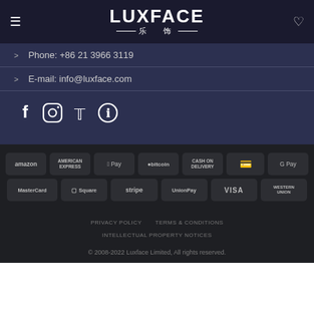LUXFACE 乐 饰
Phone: +86 21 3966 3119
E-mail: info@luxface.com
[Figure (infographic): Social media icons: Facebook, Instagram, Twitter, Pinterest]
[Figure (infographic): Payment method logos: Amazon, American Express, Apple Pay, Bitcoin, Cash on Delivery, (wallet icon), G Pay, MasterCard, Square, Stripe, UnionPay, VISA, Western Union]
PRIVACY POLICY  TERMS & CONDITIONS  INTELLECTUAL PROPERTY NOTICES
© 2008-2022 Luxface Limited, All rights reserved.